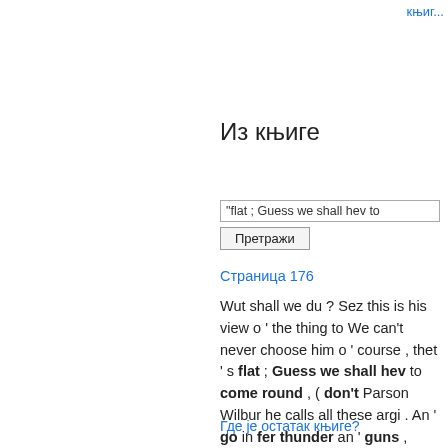књиг...
Из књиге
"flat ; Guess we shall hev to
Претражи
Страница 176
Wut shall we du ? Sez this is his view o ' the thing to We can't never choose him o ' course , thet ' s flat ; Guess we shall hev to come round , ( don't Parson Wilbur he calls all these argi . An ' go in fer thunder an ' guns , an'all ...
Где је остатак књиге?